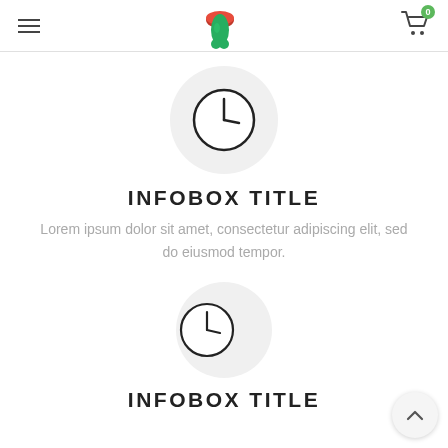Navigation header with hamburger menu, logo (tongue/mouth icon), and cart with badge 0
[Figure (illustration): Clock icon inside a large light gray circle]
INFOBOX TITLE
Lorem ipsum dolor sit amet, consectetur adipiscing elit, sed do eiusmod tempor.
[Figure (illustration): Clock icon inside a smaller light gray circle]
INFOBOX TITLE